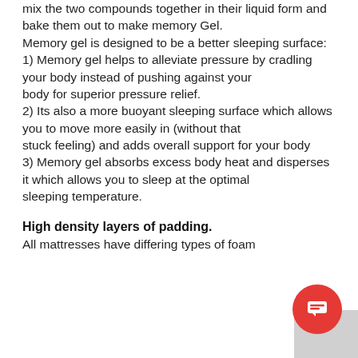mix the two compounds together in their liquid form and bake them out to make memory Gel. Memory gel is designed to be a better sleeping surface: 1) Memory gel helps to alleviate pressure by cradling your body instead of pushing against your body for superior pressure relief. 2) Its also a more buoyant sleeping surface which allows you to move more easily in (without that stuck feeling) and adds overall support for your body 3) Memory gel absorbs excess body heat and disperses it which allows you to sleep at the optimal sleeping temperature.
High density layers of padding.
All mattresses have differing types of foam...